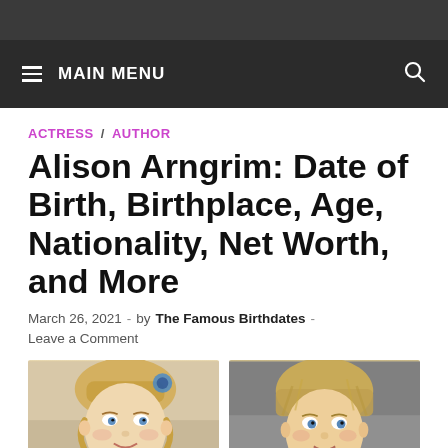MAIN MENU
ACTRESS / AUTHOR
Alison Arngrim: Date of Birth, Birthplace, Age, Nationality, Net Worth, and More
March 26, 2021 - by The Famous Birthdates - Leave a Comment
[Figure (photo): Two side-by-side photos of Alison Arngrim — left shows her as a young girl with blonde bangs and curly hair with a bow, right shows her as an adult with short blonde hair]